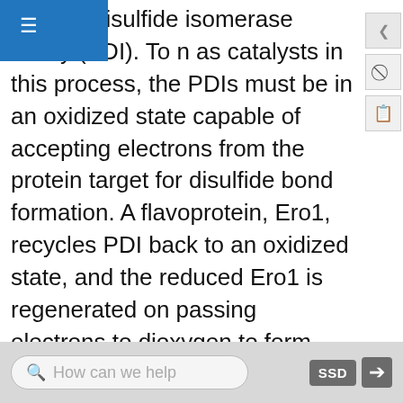s in the disulfide isomerase family (PDI). To n as catalysts in this process, the PDIs must be in an oxidized state capable of accepting electrons from the protein target for disulfide bond formation. A flavoprotein, Ero1, recycles PDI back to an oxidized state, and the reduced Ero1 is regenerated on passing electrons to dioxygen to form hydrogen peroxide. In summary, on formation of disulfides in the ER, electrons flow from the nascent protein to PDIs to the flavin protein Ero1 to dioxgen (i.e. to better and better electron acceptors). The first step is really a disulfide shuffle, which, when coupled to the subsequent steps, leads to de novo disulfide bond formation.
In the mitochondria, disulfide bond formation occurs in the intermembrane space (IMS) and is guided by the
How can we help